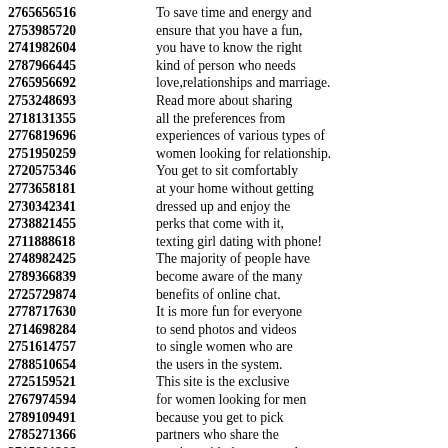2765656516 To save time and energy and 2753985720 ensure that you have a fun, 2741982604 you have to know the right 2787966445 kind of person who needs 2765956692 love,relationships and marriage. 2753248693 Read more about sharing 2718131355 all the preferences from 2776819696 experiences of various types of 2751950259 women looking for relationship. 2720575346 You get to sit comfortably 2773658181 at your home without getting 2730342341 dressed up and enjoy the 2738821455 perks that come with it, 2711888618 texting girl dating with phone! 2748982425 The majority of people have 2789366839 become aware of the many 2725729874 benefits of online chat. 2778717630 It is more fun for everyone 2714698284 to send photos and videos 2751614757 to single women who are 2788510654 the users in the system. 2725159521 This site is the exclusive 2767974594 for women looking for men 2789109491 because you get to pick 2785271366 partners who share the 2715801206 passion with the one you love